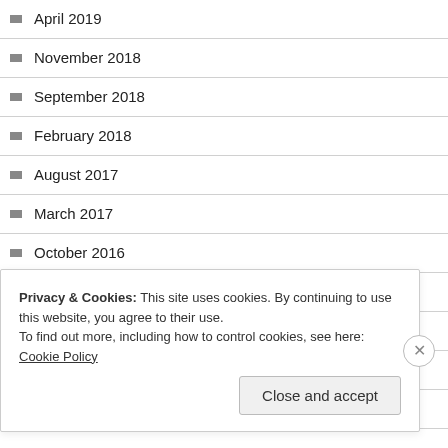April 2019
November 2018
September 2018
February 2018
August 2017
March 2017
October 2016
August 2016
July 2015
June 2015
May 2015
Privacy & Cookies: This site uses cookies. By continuing to use this website, you agree to their use. To find out more, including how to control cookies, see here: Cookie Policy